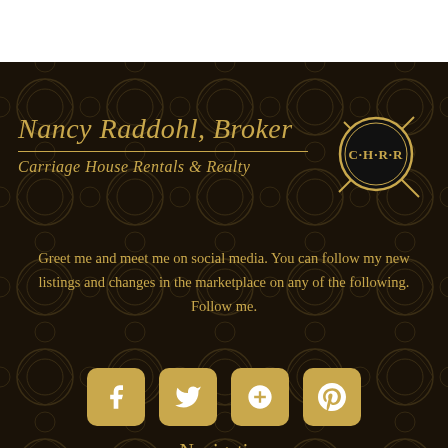Nancy Raddohl, Broker
Carriage House Rentals & Realty
[Figure (logo): CHRR circular logo with gold ring and C·H·R·R text on black background]
Greet me and meet me on social media. You can follow my new listings and changes in the marketplace on any of the following. Follow me.
[Figure (infographic): Four social media icon buttons (Facebook, Twitter, Google+, Pinterest) in gold rounded squares]
Navigation